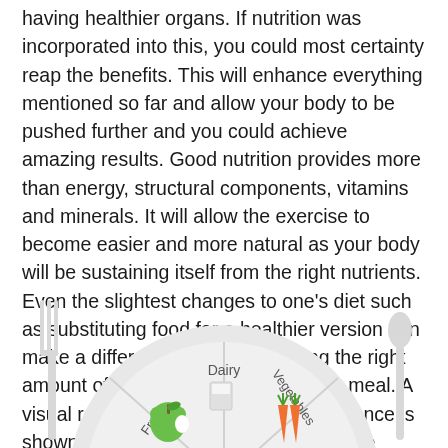having healthier organs. If nutrition was incorporated into this, you could most certainty reap the benefits. This will enhance everything mentioned so far and allow your body to be pushed further and you could achieve amazing results. Good nutrition provides more than energy, structural components, vitamins and minerals. It will allow the exercise to become easier and more natural as your body will be sustaining itself from the right nutrients. Even the slightest changes to one's diet such as substituting food for a healthier version can make a difference, alongside eating the right amount of each food group with each meal. A visual representation of the correct balance is shown below. Both nutrition and exercise combined will have a life changing effect on one's mental and physical wellbeing.
[Figure (infographic): A food plate infographic showing food groups: Dairy (with a glass of milk), Fruit (with a green apple), and Vegetables (with carrots), with a fork on the left and a spoon on the right, partially visible at the bottom of the page.]